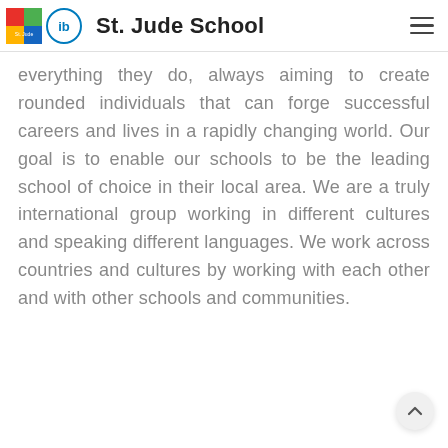St. Jude School
everything they do, always aiming to create rounded individuals that can forge successful careers and lives in a rapidly changing world. Our goal is to enable our schools to be the leading school of choice in their local area. We are a truly international group working in different cultures and speaking different languages. We work across countries and cultures by working with each other and with other schools and communities.